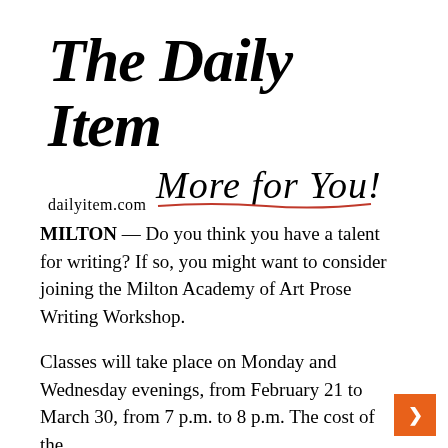[Figure (logo): The Daily Item newspaper logo with red double-rule underline, 'dailyitem.com' URL, and cursive tagline 'More for You!' in black script with red underline curl]
MILTON — Do you think you have a talent for writing? If so, you might want to consider joining the Milton Academy of Art Prose Writing Workshop.
Classes will take place on Monday and Wednesday evenings, from February 21 to March 30, from 7 p.m. to 8 p.m. The cost of the